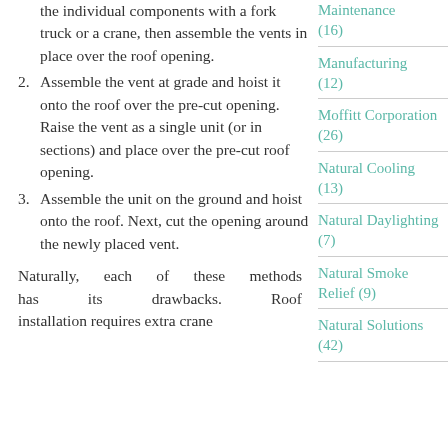the individual components with a fork truck or a crane, then assemble the vents in place over the roof opening.
2. Assemble the vent at grade and hoist it onto the roof over the pre-cut opening. Raise the vent as a single unit (or in sections) and place over the pre-cut roof opening.
3. Assemble the unit on the ground and hoist onto the roof. Next, cut the opening around the newly placed vent.
Naturally, each of these methods has its drawbacks. Roof installation requires extra crane
Maintenance (16)
Manufacturing (12)
Moffitt Corporation (26)
Natural Cooling (13)
Natural Daylighting (7)
Natural Smoke Relief (9)
Natural Solutions (42)